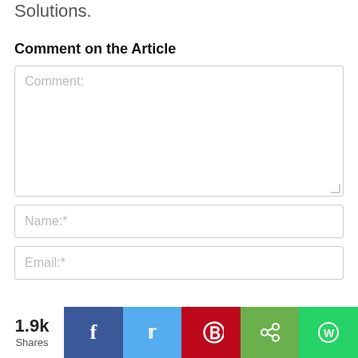the former MD of London-based Ms S Global Solutions.
Comment on the Article
Comment: [textarea input field]
Name:* [input field]
Email:* [input field]
1.9k Shares [social share bar: Facebook, Twitter, Pinterest, Share, WhatsApp]